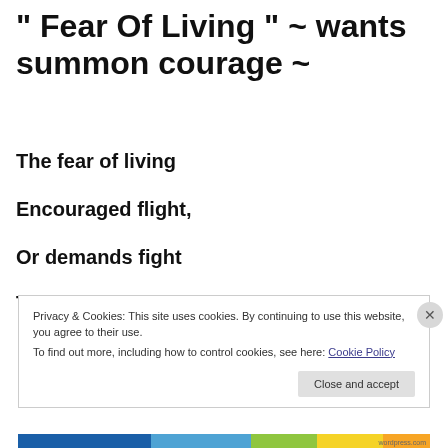" Fear Of Living " ~ wants summon courage ~
The fear of living
Encouraged flight,
Or demands fight
To wrestle demons
Privacy & Cookies: This site uses cookies. By continuing to use this website, you agree to their use. To find out more, including how to control cookies, see here: Cookie Policy
Close and accept